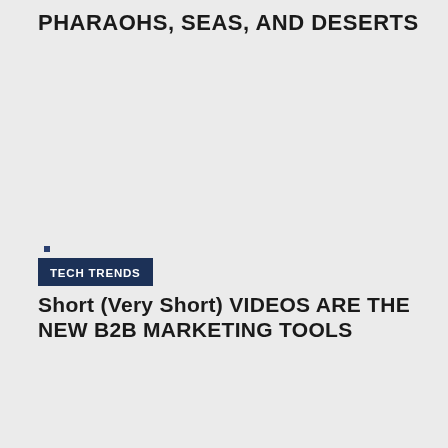PHARAOHS, SEAS, AND DESERTS
TECH TRENDS
Short (Very Short) VIDEOS ARE THE NEW B2B MARKETING TOOLS